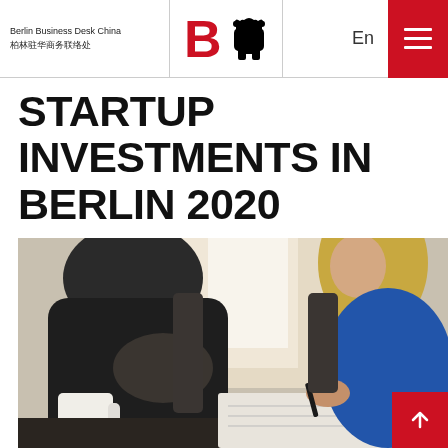Berlin Business Desk China 柏林驻华商务联络处
STARTUP INVESTMENTS IN BERLIN 2020
[Figure (photo): Two people sitting at a table — one in dark clothing on the left, one with blonde hair in blue on the right holding a pen and writing in a notebook, with a white coffee mug on the table. Office/café meeting setting with bright window light in background.]